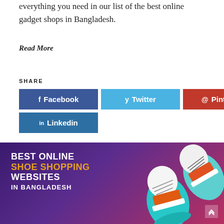everything you need in our list of the best online gadget shops in Bangladesh.
Read More
SHARE
Facebook  Twitter  Pinterest  Linkedin
[Figure (infographic): Promotional banner for 'Best Online Shoe Shopping Websites in Bangladesh' with illustrated sneakers on a purple-to-red gradient background.]